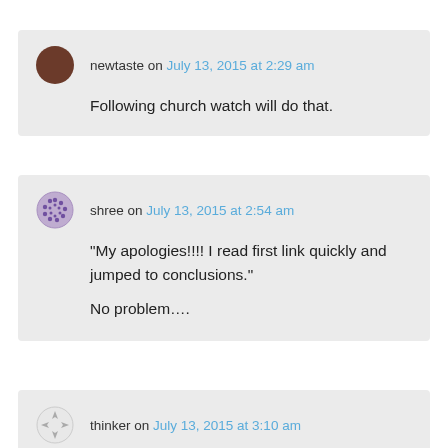newtaste on July 13, 2015 at 2:29 am
Following church watch will do that.
shree on July 13, 2015 at 2:54 am
“My apologies!!!! I read first link quickly and jumped to conclusions.”

No problem….
thinker on July 13, 2015 at 3:10 am